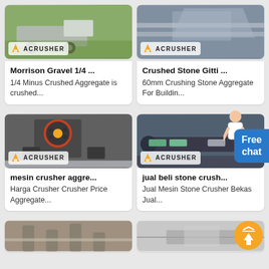[Figure (photo): Mobile crusher machine on truck, green field background, ACRUSHER logo badge]
Morrison Gravel 1/4 ...
1/4 Minus Crushed Aggregate is crushed...
[Figure (photo): Crushed stone aggregate on conveyor, ACRUSHER logo badge]
Crushed Stone Gitti ...
60mm Crushing Stone Aggregate For Buildin...
[Figure (photo): Jaw crusher machine in factory, ACRUSHER logo badge]
mesin crusher aggre...
Harga Crusher Crusher Price Aggregate...
[Figure (photo): Stone crusher conveyor equipment in warehouse, ACRUSHER logo badge]
jual beli stone crush...
Jual Mesin Stone Crusher Bekas Jual...
[Figure (photo): Industrial machinery partially visible at bottom left]
[Figure (photo): Industrial equipment partially visible at bottom right]